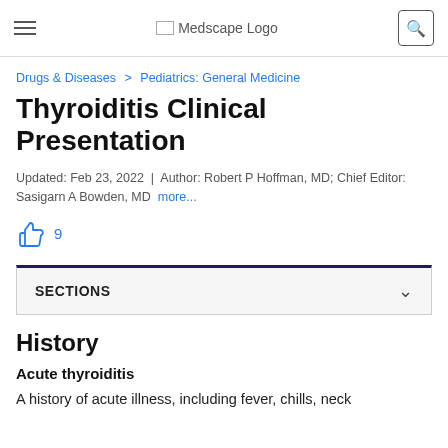Medscape Logo
Drugs & Diseases > Pediatrics: General Medicine
Thyroiditis Clinical Presentation
Updated: Feb 23, 2022 | Author: Robert P Hoffman, MD; Chief Editor: Sasigarn A Bowden, MD more...
9
SECTIONS
History
Acute thyroiditis
A history of acute illness, including fever, chills, neck